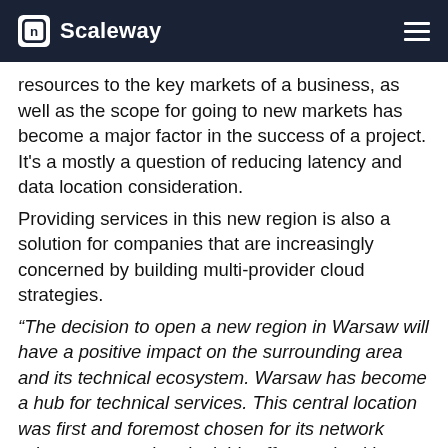Scaleway
resources to the key markets of a business, as well as the scope for going to new markets has become a major factor in the success of a project. It's a mostly a question of reducing latency and data location consideration.
Providing services in this new region is also a solution for companies that are increasingly concerned by building multi-provider cloud strategies.
“The decision to open a new region in Warsaw will have a positive impact on the surrounding area and its technical ecosystem. Warsaw has become a hub for technical services. This central location was first and foremost chosen for its network advantages, and undeniably offers optimal latency when connecting Eastern, Western and Northern Europe. Thus, Warsaw allows us to better serve our customers not only in Poland, but also in the Czech Republic, Romania,